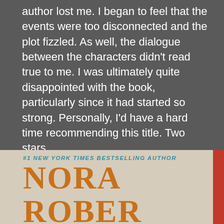author lost me. I began to feel that the events were too disconnected and the plot fizzled. As well, the dialogue between the characters didn't read true to me. I was ultimately quite disappointed with the book, particularly since it had started so strong. Personally, I'd have a hard time recommending this title. Two stars.
[Figure (photo): Book cover of a Nora Roberts novel showing '#1 New York Times Bestselling Author' tagline in teal italic text, and the author name 'NORA ROBERTS' in large orange serif letters on a beige/cream background with a red strip on the right edge. A dark scroll-up button and a blue more-options button are overlaid on the right side.]